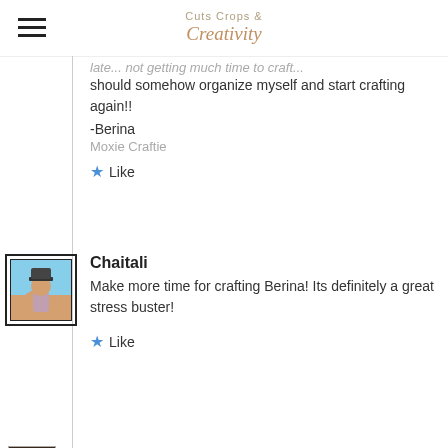Cuts Crops & Creativity
...not getting much time to craft... should somehow organize myself and start crafting again!!
-Berina
Moxie Craftie
★ Like
Chaitali
Make more time for crafting Berina! Its definitely a great stress buster!
★ Like
cat c
Wonderful interview Chiatali. The crafting